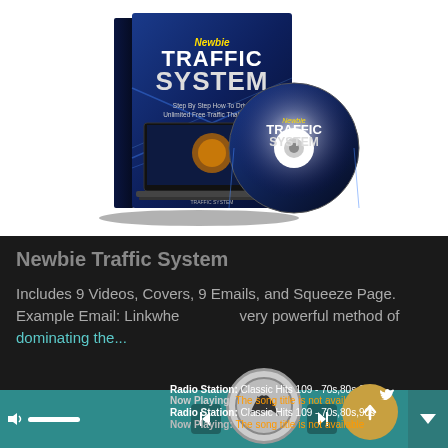[Figure (illustration): Product box and DVD disc for 'Newbie Traffic System' - a blue themed box set showing a laptop with neon lights, titled 'Newbie Traffic System: Step By Step How To Drive Unlimited Free Traffic That BUYS!']
Newbie Traffic System
Includes 9 Videos, Covers, 9 Emails, and Squeeze Page. Example Email: Linkwhe... very powerful method of dominating the...
$1.00
Radio Station: Classic Hits 109 - 70s,80s,90s
Now Playing: The song title is not available